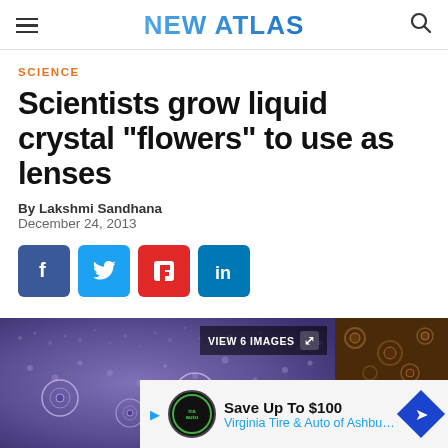NEW ATLAS
SCIENCE
Scientists grow liquid crystal "flowers" to use as lenses
By Lakshmi Sandhana
December 24, 2013
[Figure (screenshot): Social sharing buttons: Facebook, Twitter, Flipboard, LinkedIn]
[Figure (photo): Image strip showing liquid crystal flowers microscopy images with VIEW 6 IMAGES button]
Save Up To $100
Virginia Tire & Auto of Ashburn ...